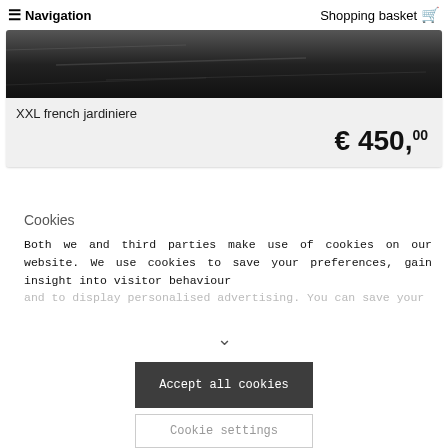≡ Navigation   Shopping basket 🛒
[Figure (photo): Dark textured product image (top portion of XXL french jardiniere)]
XXL french jardiniere
€ 450,00
Cookies
Both we and third parties make use of cookies on our website. We use cookies to save your preferences, gain insight into visitor behaviour and to display personalised advertising. You can save your
Accept all cookies
Cookie settings